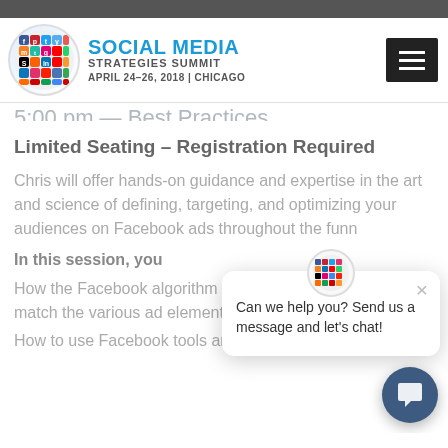Social Media Strategies Summit — April 24–26, 2018 | Chicago
Limited Seating – Registration Required
Chris will offer hands-on guidance and expertise in the art and science of defining, targeting, and optimizing your audiences on Facebook ads throughout the funn
In this session, you
How the Facebook algorithm works at a basic level to match the various ad elements, including audience
How to use Facebook tools and the Facebook